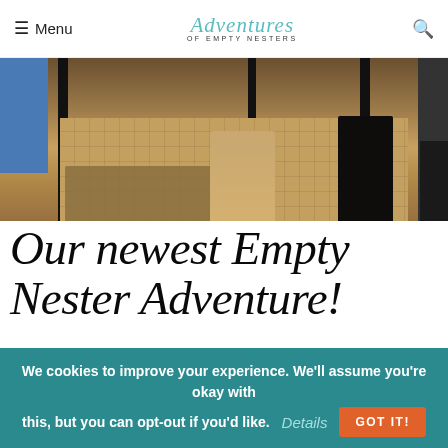Menu | Adventures of Empty Nesters | [search icon]
[Figure (photo): Photo showing feet/legs standing on a parquet floor near what appears to be a mirror frame; one person wearing sandals, another in dark pants]
Our newest Empty Nester Adventure!
Great news! It seems that empty nesters are quite popular and in demand. I was contacted by a Toronto production company to see if I was interested in testing and working with a product that would be a great fit with the lifestyle
We cookies to improve your experience. We'll assume you're okay with this, but you can opt-out if you'd like. Details GOT IT!